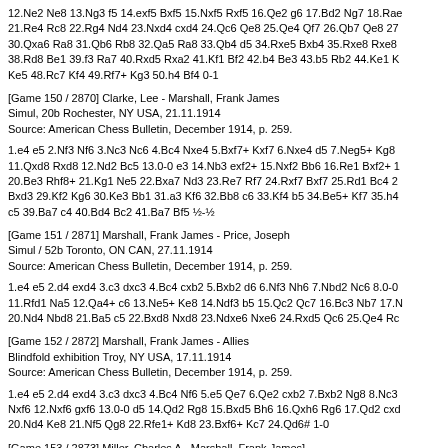12.Ne2 Ne8 13.Ng3 f5 14.exf5 Bxf5 15.Nxf5 Rxf5 16.Qe2 g6 17.Bd2 Ng7 18.Rae... 21.Re4 Rc8 22.Rg4 Nd4 23.Nxd4 cxd4 24.Qc6 Qe8 25.Qe4 Qf7 26.Qb7 Qe8 27... 30.Qxa6 Ra8 31.Qb6 Rb8 32.Qa5 Ra8 33.Qb4 d5 34.Rxe5 Bxb4 35.Rxe8 Rxe8... 38.Rd8 Be1 39.f3 Ra7 40.Rxd5 Rxa2 41.Kf1 Bf2 42.b4 Be3 43.b5 Rb2 44.Ke1 K... Ke5 48.Rc7 Kf4 49.Rf7+ Kg3 50.h4 Bf4 0-1
[Game 150 / 2870] Clarke, Lee - Marshall, Frank James
Simul, 20b Rochester, NY USA, 21.11.1914
Source: American Chess Bulletin, December 1914, p. 259.
1.e4 e5 2.Nf3 Nf6 3.Nc3 Nc6 4.Bc4 Nxe4 5.Bxf7+ Kxf7 6.Nxe4 d5 7.Neg5+ Kg8... 11.Qxd8 Rxd8 12.Nd2 Bc5 13.0-0 e3 14.Nb3 exf2+ 15.Nxf2 Bb6 16.Re1 Bxf2+ 1... 20.Be3 Rhf8+ 21.Kg1 Ne5 22.Bxa7 Nd3 23.Re7 Rf7 24.Rxf7 Bxf7 25.Rd1 Bc4 2... Bxd3 29.Kf2 Kg6 30.Ke3 Bb1 31.a3 Kf6 32.Bb8 c6 33.Kf4 b5 34.Be5+ Kf7 35.h4... c5 39.Ba7 c4 40.Bd4 Bc2 41.Ba7 Bf5 ½-½
[Game 151 / 2871] Marshall, Frank James - Price, Joseph
Simul / 52b Toronto, ON CAN, 27.11.1914
Source: American Chess Bulletin, December 1914, p. 259.
1.e4 e5 2.d4 exd4 3.c3 dxc3 4.Bc4 cxb2 5.Bxb2 d6 6.Nf3 Nh6 7.Nbd2 Nc6 8.0-0... 11.Rfd1 Na5 12.Qa4+ c6 13.Ne5+ Ke8 14.Ndf3 b5 15.Qc2 Qc7 16.Bc3 Nb7 17.N... 20.Nd4 Nbd8 21.Ba5 c5 22.Bxd8 Nxd8 23.Ndxe6 Nxe6 24.Rxd5 Qc6 25.Qe4 Rc...
[Game 152 / 2872] Marshall, Frank James - Allies
Blindfold exhibition Troy, NY USA, 17.11.1914
Source: American Chess Bulletin, December 1914, p. 259.
1.e4 e5 2.d4 exd4 3.c3 dxc3 4.Bc4 Nf6 5.e5 Qe7 6.Qe2 cxb2 7.Bxb2 Ng8 8.Nc3... Nxf6 12.Nxf6 gxf6 13.0-0 d5 14.Qd2 Rg8 15.Bxd5 Bh6 16.Qxh6 Rg6 17.Qd2 cxd... 20.Nd4 Ke8 21.Nf5 Qg8 22.Rfe1+ Kd8 23.Bxf6+ Kc7 24.Qd6# 1-0
[Game 153 / 2873] Miller, Charles A - Marshall, Frank James]
Simul /12b Utica, NY USA, 19.11.1914
Source: American Chess Bulletin, December 1914, p. 259.
1.e4 e5 2.Nf3 Nf6 3.Nxe5 d6 4.Nf3 Nxe4 5.d4 d5 6.Bd3 Bd6 7.0-0 0-0 8.Be3 Bg4... 12.Ng3 f4 13.Bxe4 dxe4 14.Nxe4 fxe3 15.Nxd6 exf2+ 16.Kxf2 Qh4+ 17.Kg1 Bxf3... 20.Qe6+ Qxe6 21.Rxe6 b6 22.Rae1 Raf8 23.Re8 Rxe8 24.Rxe8+ Rf8 25.Rxf8+... Kf6 29.Nd6 Ke6 30.Ne4 Kf5 31.Nd6+ Ke6 ½-½
[Game 154 / 2874] Cole, J R - Blakeney, B B